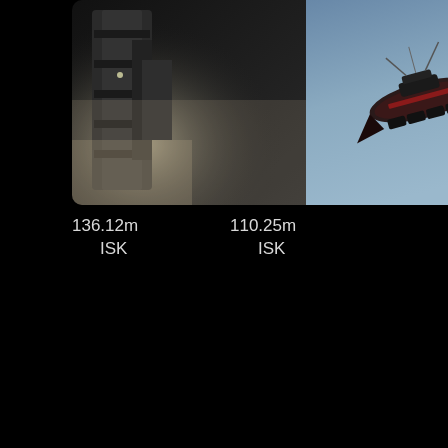[Figure (photo): Two EVE Online game screenshots side by side: left shows a dark space station structure with atmospheric haze, right shows a spacecraft (red and dark colored) in a blue-grey space environment]
136.12m ISK
110.25m ISK